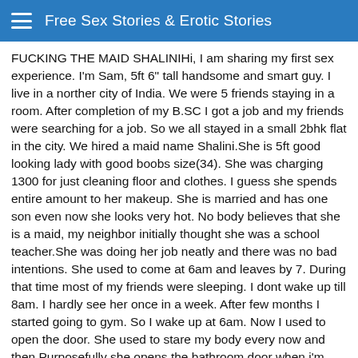Free Sex Stories & Erotic Stories
FUCKING THE MAID SHALINIHi, I am sharing my first sex experience. I'm Sam, 5ft 6" tall handsome and smart guy. I live in a norther city of India. We were 5 friends staying in a room. After completion of my B.SC I got a job and my friends were searching for a job. So we all stayed in a small 2bhk flat in the city. We hired a maid name Shalini.She is 5ft good looking lady with good boobs size(34). She was charging 1300 for just cleaning floor and clothes. I guess she spends entire amount to her makeup. She is married and has one son even now she looks very hot. No body believes that she is a maid, my neighbor initially thought she was a school teacher.She was doing her job neatly and there was no bad intentions. She used to come at 6am and leaves by 7. During that time most of my friends were sleeping. I dont wake up till 8am. I hardly see her once in a week. After few months I started going to gym. So I wake up at 6am. Now I used to open the door. She used to stare my body every now and then.Purposefully she opens the bathroom door when i'm inside and asks permission to get in and take close. This